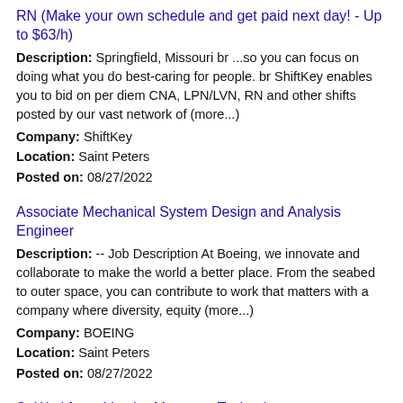RN (Make your own schedule and get paid next day! - Up to $63/h)
Description: Springfield, Missouri br ...so you can focus on doing what you do best-caring for people. br ShiftKey enables you to bid on per diem CNA, LPN/LVN, RN and other shifts posted by our vast network of (more...)
Company: ShiftKey
Location: Saint Peters
Posted on: 08/27/2022
Associate Mechanical System Design and Analysis Engineer
Description: -- Job Description At Boeing, we innovate and collaborate to make the world a better place. From the seabed to outer space, you can contribute to work that matters with a company where diversity, equity (more...)
Company: BOEING
Location: Saint Peters
Posted on: 08/27/2022
Sr Workforce Vendor Manager, Technology
Description: At Edward Jones, we help clients achieve their serious, long-term financial goals by understanding their needs...